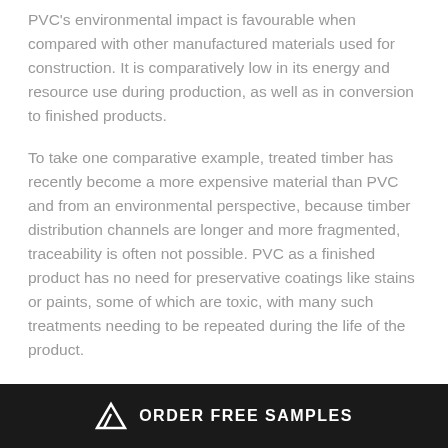PVC's environmental impact is favourable when compared with other manufactured materials used for construction. It is comparatively low in its energy and resource use during production, as well as in conversion to finished products.
To take one comparative example, treated timber has recently become a more expensive material than PVC and from an environmental perspective, because timber distribution channels are longer and more fragmented, traceability is often not possible. PVC as a finished product has no need for preservative coatings like stains or paints, some of which are toxic, with many such treatments needing to be repeated during the life of the product.
ORDER FREE SAMPLES